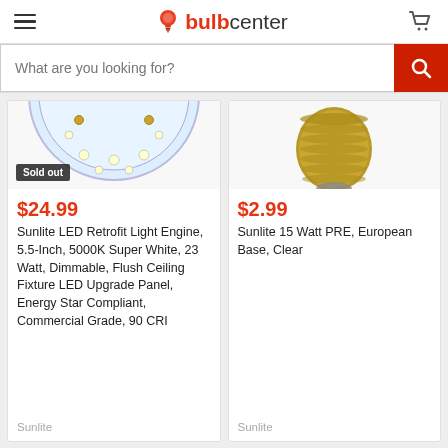bulbcenter
What are you looking for?
[Figure (photo): Cropped product image of an LED retrofit light engine panel showing blue/white LEDs from below, with a 'Sold out' badge]
$24.99
Sunlite LED Retrofit Light Engine, 5.5-Inch, 5000K Super White, 23 Watt, Dimmable, Flush Ceiling Fixture LED Upgrade Panel, Energy Star Compliant, Commercial Grade, 90 CRI
Sunlite
[Figure (photo): Cropped product image showing the gold/brass screw base of a light bulb from below]
$2.99
Sunlite 15 Watt PRE, European Base, Clear
Sunlite